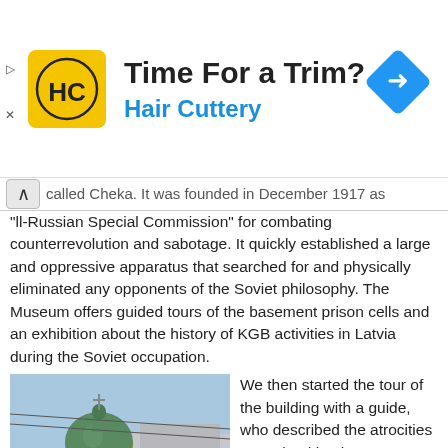[Figure (illustration): Hair Cuttery advertisement banner with HC logo on yellow background, bold text 'Time For a Trim?' and 'Hair Cuttery' in blue, and a blue diamond arrow navigation icon on the right.]
called Cheka. It was founded in December 1917 as 'All-Russian Special Commission' for combating counterrevolution and sabotage. It quickly established a large and oppressive apparatus that searched for and physically eliminated any opponents of the Soviet philosophy. The Museum offers guided tours of the basement prison cells and an exhibition about the history of KGB activities in Latvia during the Soviet occupation.
[Figure (photo): St. Alexander Nevsky Church - a yellow building with a green dome and columns, photographed from the street.]
St. Alexander Nevsky Church
We then started the tour of the building with a guide, who described the atrocities committed by the KGB on the Latvian people during the Soviet occupation.
On the way back, we stopped to admire some of Riga's beautiful cathedrals and churches, pictured above.